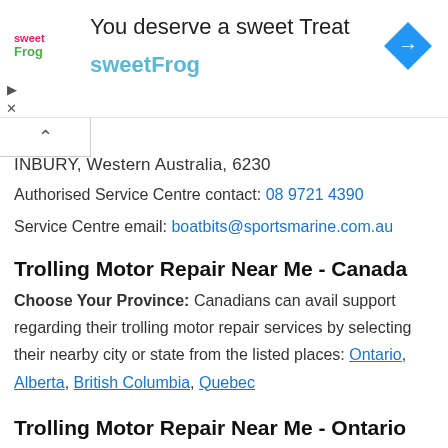[Figure (other): SweetFrog advertisement banner with logo, tagline 'You deserve a sweet Treat', subtitle 'sweetFrog', and a navigation arrow icon]
INBURY, Western Australia, 6230
Authorised Service Centre contact: 08 9721 4390
Service Centre email: boatbits@sportsmarine.com.au
Trolling Motor Repair Near Me - Canada
Choose Your Province: Canadians can avail support regarding their trolling motor repair services by selecting their nearby city or state from the listed places: Ontario, Alberta, British Columbia, Quebec
Trolling Motor Repair Near Me - Ontario